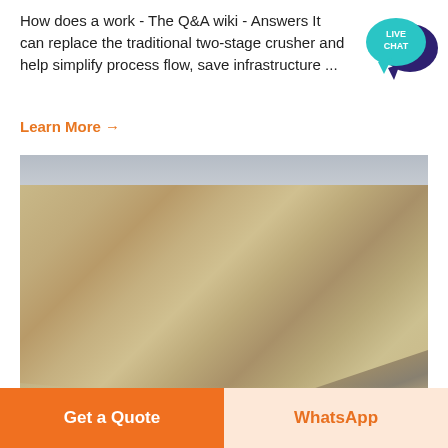How does a work - The Q&A wiki - Answers It can replace the traditional two-stage crusher and help simplify process flow, save infrastructure ...
Learn More →
[Figure (illustration): Live Chat speech bubble icon with teal/cyan color and dark navy chat bubble]
[Figure (photo): Aerial view of an open-pit quarry/mining site with conveyor belts, crushing equipment, excavators, large rock face with sandy colored stone, and a white building. A logo overlay in the bottom right reads MINING EQUIPMENT with two green diagonal slashes.]
Get a Quote
WhatsApp